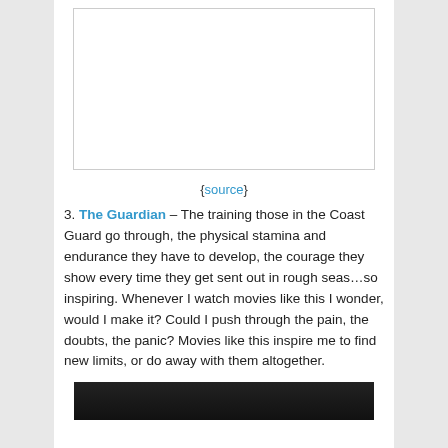[Figure (photo): Blank/white image placeholder with thin border]
{source}
3. The Guardian – The training those in the Coast Guard go through, the physical stamina and endurance they have to develop, the courage they show every time they get sent out in rough seas…so inspiring. Whenever I watch movies like this I wonder, would I make it? Could I push through the pain, the doubts, the panic? Movies like this inspire me to find new limits, or do away with them altogether.
[Figure (photo): Dark/black image at the bottom of the page, partially visible]